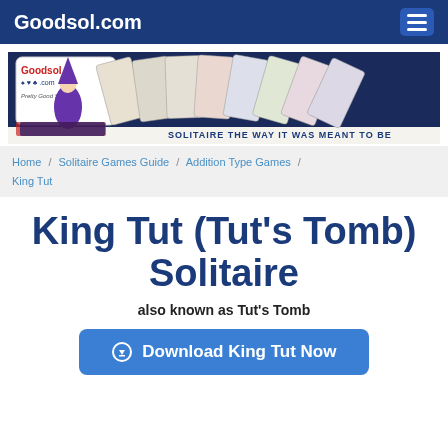Goodsol.com
[Figure (illustration): Goodsol.com solitaire banner showing playing cards and a wizard character with tagline 'Solitaire the way it was meant to be']
Home / Solitaire Games Guide / Addition Type Games / King Tut
King Tut (Tut's Tomb) Solitaire
also known as Tut's Tomb
⊙ Download King Tut Now